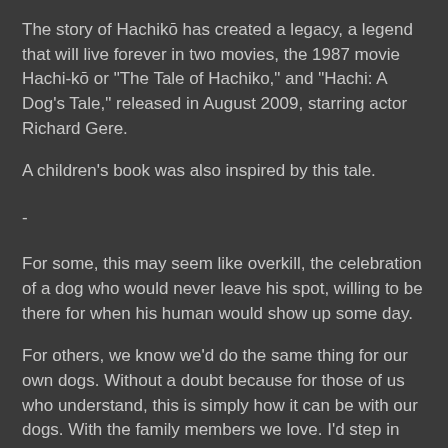The story of Hachikō has created a legacy, a legend that will live forever in two movies, the 1987 movie Hachi-kō or "The Tale of Hachiko," and "Hachi: A Dog's Tale," released in August 2009, starring actor Richard Gere.
A children's book was also inspired by this tale.
-
For some, this may seem like overkill, the celebration of a dog who would never leave his spot, willing to be there for when his human would show up some day.
For others, we know we'd do the same thing for our own dogs. Without a doubt because for those of us who understand, this is simply how it can be with our dogs. With the family members we love. I'd step in front of train to save my wife of dogs. (Yes, the cats too... maybe.)
The KLEENEX section.